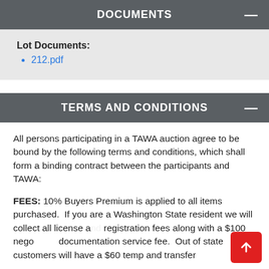DOCUMENTS
Lot Documents:
212.pdf
TERMS AND CONDITIONS
All persons participating in a TAWA auction agree to be bound by the following terms and conditions, which shall form a binding contract between the participants and TAWA:
FEES: 10% Buyers Premium is applied to all items purchased.  If you are a Washington State resident we will collect all license and registration fees along with a $100 negotiable documentation service fee.  Out of state customers will have a $60 temp and transfer